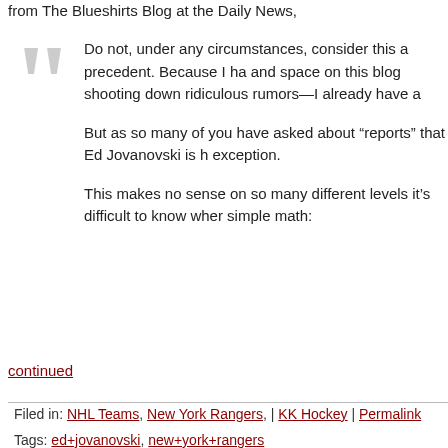from The Blueshirts Blog at the Daily News,
Do not, under any circumstances, consider this a precedent. Because I ha and space on this blog shooting down ridiculous rumors—I already have a
But as so many of you have asked about “reports” that Ed Jovanovski is h exception.
This makes no sense on so many different levels it's difficult to know wher simple math:
continued
Filed in: NHL Teams, New York Rangers, | KK Hockey | Permalink
Tags: ed+jovanovski, new+york+rangers